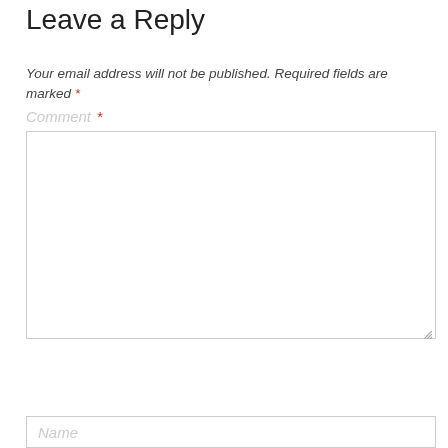Leave a Reply
Your email address will not be published. Required fields are marked *
Comment *
[Figure (other): Empty comment textarea input box with resize handle at bottom right]
Name